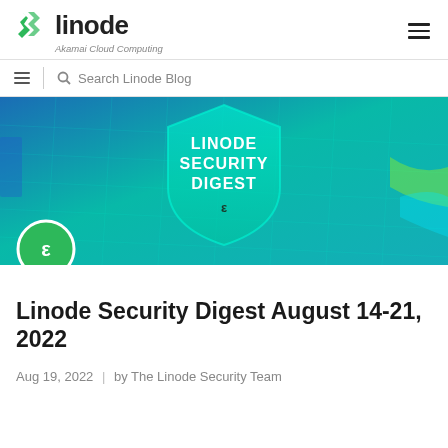linode — Akamai Cloud Computing
Search Linode Blog
[Figure (illustration): Linode Security Digest hero banner with teal shield graphic on a blue grid background, featuring text LINODE SECURITY DIGEST with a Linode logo icon below it, and a green circular Linode avatar badge in the lower left corner.]
Linode Security Digest August 14-21, 2022
Aug 19, 2022  |  by The Linode Security Team